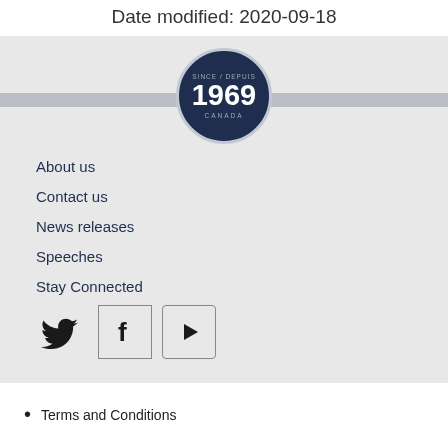Date modified: 2020-09-18
[Figure (logo): Circular logo with dark navy background showing '1969' in large white text, with 'SINCE / DEPUIS' above and 'CANADA' below, surrounded by a light grey circular border]
About us
Contact us
News releases
Speeches
Stay Connected
[Figure (logo): Social media icons: Twitter bird icon, Facebook 'f' icon in a square border, YouTube play button in a rounded square]
Terms and Conditions